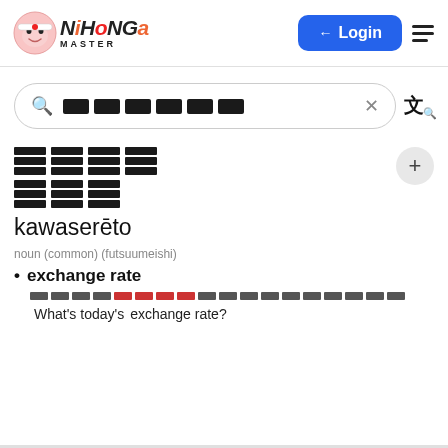[Figure (screenshot): Nihongo Master website header with logo, Login button, and hamburger menu]
[Figure (screenshot): Search bar with Japanese text blocks and X clear button, translation icon]
[Japanese kanji text blocks - redacted in image]
kawaserēto
noun (common) (futsuumeishi)
exchange rate
[Japanese sentence blocks] What's today's exchange rate?